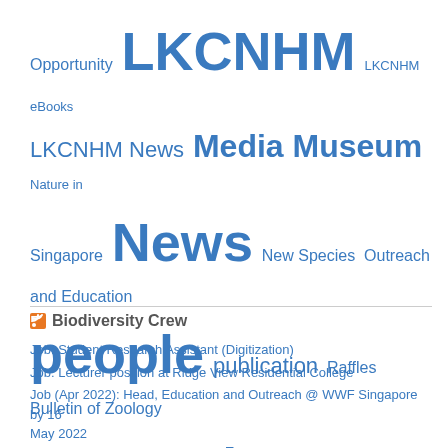[Figure (other): Tag cloud with words of varying sizes in blue: Opportunity, LKCNHM, LKCNHM eBooks, LKCNHM News, Media, Museum, Nature in Singapore, News, New Species, Outreach and Education, people, publication, Raffles Bulletin of Zoology, research, Singapore Biodiversity Records, Straits Times, Talk, visitors, volunteer, zaobao]
Biodiversity Crew
Job: Student Research Assistant (Digitization)
Job: Lecturer position at Ridge View Residential College
Job (Apr 2022): Head, Education and Outreach @ WWF Singapore by 16 May 2022